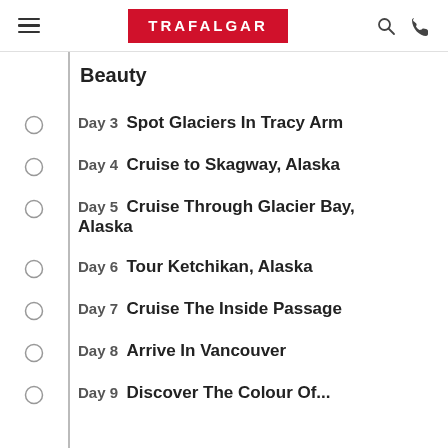TRAFALGAR
Beauty
Day 3  Spot Glaciers In Tracy Arm
Day 4  Cruise to Skagway, Alaska
Day 5  Cruise Through Glacier Bay, Alaska
Day 6  Tour Ketchikan, Alaska
Day 7  Cruise The Inside Passage
Day 8  Arrive In Vancouver
Day 9  Discover The Colour Of...